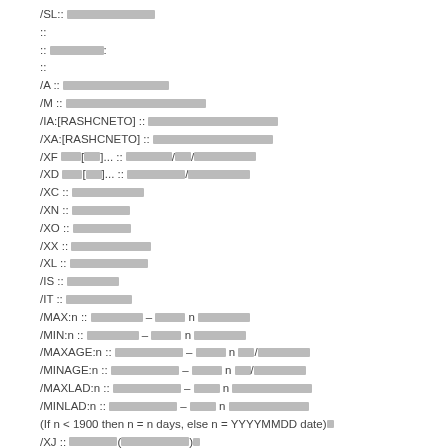/SL:: [redacted]
::
:: [redacted]:
::
/A :: [redacted]
/M :: [redacted]
/IA:[RASHCNETO] :: [redacted]
/XA:[RASHCNETO] :: [redacted]
/XF [redacted]... :: [redacted]/[redacted]/[redacted]
/XD [redacted]... :: [redacted]/[redacted]
/XC :: [redacted]
/XN :: [redacted]
/XO :: [redacted]
/XX :: [redacted]
/XL :: [redacted]
/IS :: [redacted]
/IT :: [redacted]
/MAX:n :: [redacted] – [redacted] n [redacted]
/MIN:n :: [redacted] – [redacted] n [redacted]
/MAXAGE:n :: [redacted] – [redacted] n [redacted]/[redacted]
/MINAGE:n :: [redacted] – [redacted] n [redacted]/[redacted]
/MAXLAD:n :: [redacted] – [redacted] n [redacted]
/MINLAD:n :: [redacted] – [redacted] n [redacted]
(If n < 1900 then n = n days, else n = YYYYMMDD date)
/XJ :: [redacted]([redacted])
/EFT :: [redacted] FAT [redacted](2 [redacted])